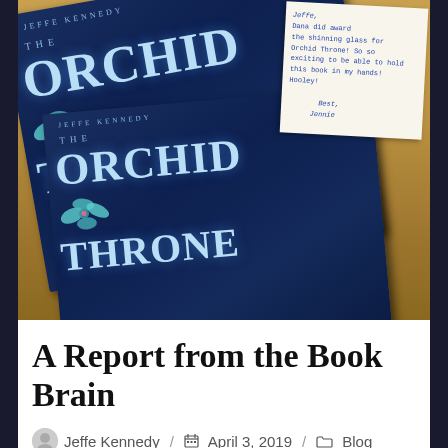[Figure (photo): Photograph of multiple copies of 'The Orchid Throne' by Jeffe Kennedy stacked on a wooden surface, with a handwritten note on white paper visible in the upper right corner of the image.]
A Report from the Book Brain
Jeffe Kennedy / April 3, 2019 / Blog